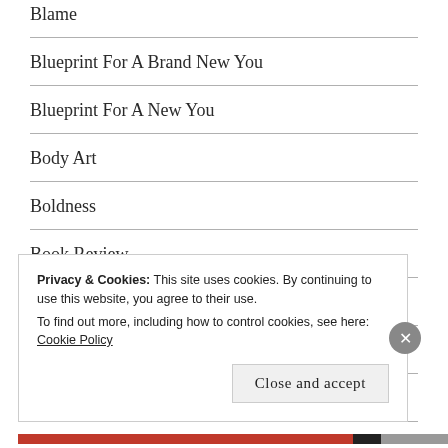Blame
Blueprint For A Brand New You
Blueprint For A New You
Body Art
Boldness
Book Review
Boredom
Born Again
Brand New You
Privacy & Cookies: This site uses cookies. By continuing to use this website, you agree to their use.
To find out more, including how to control cookies, see here: Cookie Policy
Close and accept